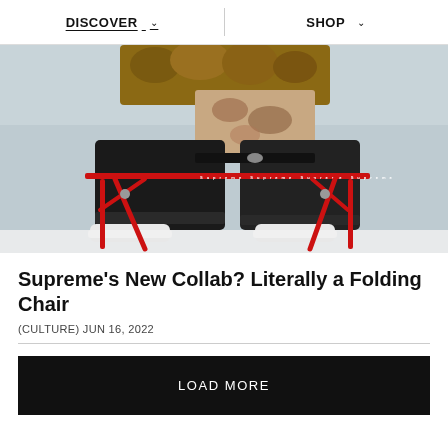DISCOVER  SHOP
[Figure (photo): Person with tattoos sitting on a red Supreme folding chair, wearing black jeans and white sneakers, with a light sky background.]
Supreme's New Collab? Literally a Folding Chair
(CULTURE) JUN 16, 2022
LOAD MORE